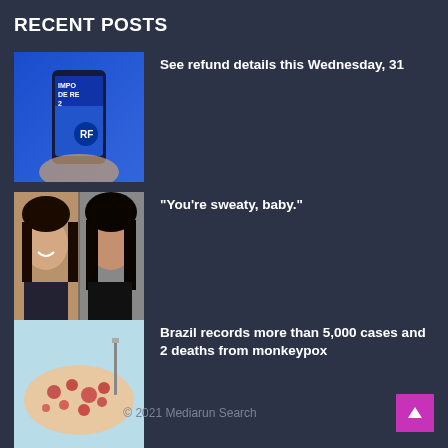RECENT POSTS
[Figure (photo): Photo of a phone showing Receita Federal (Brazilian tax authority) branding with text IMPO DE RE 2]
See refund details this Wednesday, 31
[Figure (photo): Split photo of two women with dark hair]
“You’re sweaty, baby.”
[Figure (photo): Photo of a person's arm with monkeypox skin lesions on a light blue background]
Brazil records more than 5,000 cases and 2 deaths from monkeypox
© 2021 Mediarun Search